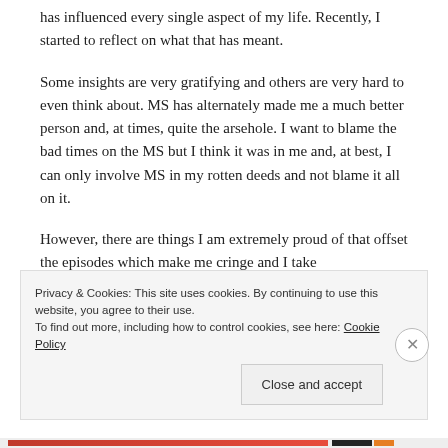has influenced every single aspect of my life. Recently, I started to reflect on what that has meant.
Some insights are very gratifying and others are very hard to even think about. MS has alternately made me a much better person and, at times, quite the arsehole. I want to blame the bad times on the MS but I think it was in me and, at best, I can only involve MS in my rotten deeds and not blame it all on it.
However, there are things I am extremely proud of that offset the episodes which make me cringe and I take
Privacy & Cookies: This site uses cookies. By continuing to use this website, you agree to their use.
To find out more, including how to control cookies, see here: Cookie Policy
Close and accept